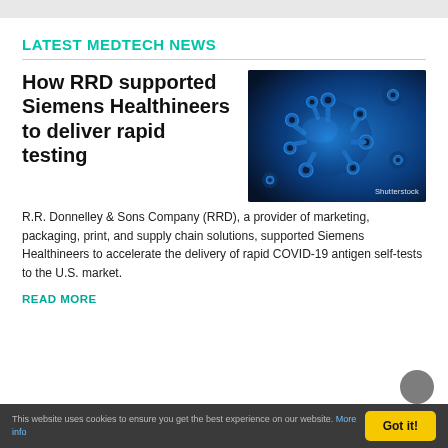LATEST MEDTECH NEWS
How RRD supported Siemens Healthineers to deliver rapid testing
[Figure (photo): Microscopic blue-tinted image of virus or bacteria particles with tube-like protrusions on a dark blue background. Shutterstock watermark visible.]
R.R. Donnelley & Sons Company (RRD), a provider of marketing, packaging, print, and supply chain solutions, supported Siemens Healthineers to accelerate the delivery of rapid COVID-19 antigen self-tests to the U.S. market.
READ MORE
This website uses cookies to ensure you get the best experience on our website. More info  Got it!